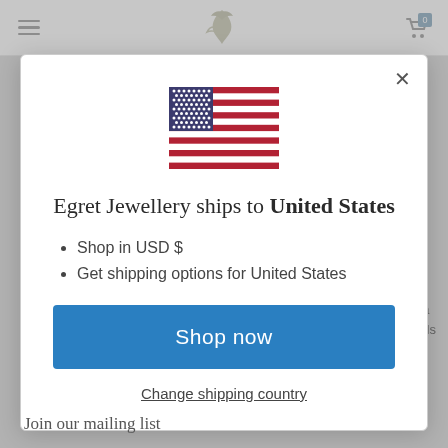[Figure (screenshot): Website navigation bar with hamburger menu, egret bird logo, and shopping cart icon with badge showing 0]
[Figure (illustration): United States flag emoji/icon displayed at center of modal]
Egret Jewellery ships to United States
Shop in USD $
Get shipping options for United States
Shop now
Change shipping country
Join our mailing list